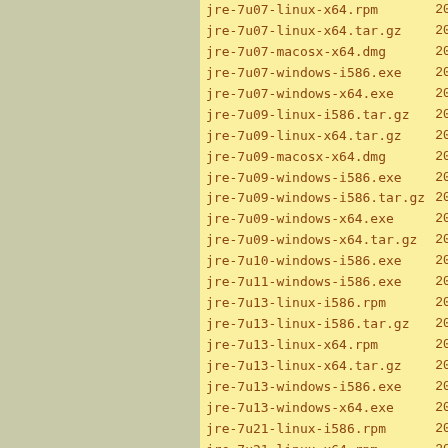| filename | year |
| --- | --- |
| jre-7u07-linux-x64.rpm | 2012 |
| jre-7u07-linux-x64.tar.gz | 2012 |
| jre-7u07-macosx-x64.dmg | 2012 |
| jre-7u07-windows-i586.exe | 2012 |
| jre-7u07-windows-x64.exe | 2012 |
| jre-7u09-linux-i586.tar.gz | 2012 |
| jre-7u09-linux-x64.tar.gz | 2012 |
| jre-7u09-macosx-x64.dmg | 2012 |
| jre-7u09-windows-i586.exe | 2012 |
| jre-7u09-windows-i586.tar.gz | 2015 |
| jre-7u09-windows-x64.exe | 2015 |
| jre-7u09-windows-x64.tar.gz | 2015 |
| jre-7u10-windows-i586.exe | 2013 |
| jre-7u11-windows-i586.exe | 2013 |
| jre-7u13-linux-i586.rpm | 2013 |
| jre-7u13-linux-i586.tar.gz | 2013 |
| jre-7u13-linux-x64.rpm | 2013 |
| jre-7u13-linux-x64.tar.gz | 2013 |
| jre-7u13-windows-i586.exe | 2013 |
| jre-7u13-windows-x64.exe | 2013 |
| jre-7u21-linux-i586.rpm | 2013 |
| jre-7u21-linux-x64.rpm | 2013 |
| jre-7u21-macosx-x64.tar.gz | 2013 |
| jre-7u21-windows-i586.exe | 2013 |
| jre-7u21-windows-x64.exe | 2013 |
| jre-7u25-linux-i586.rpm | 2013 |
| jre-7u25-linux-x64.rpm | 2013 |
| jre-7u25-windows-i586.exe | 2013 |
| jre-7u25-windows-x64.exe | 2013 |
| jre-7u40-linux-i586.rpm | 2013 |